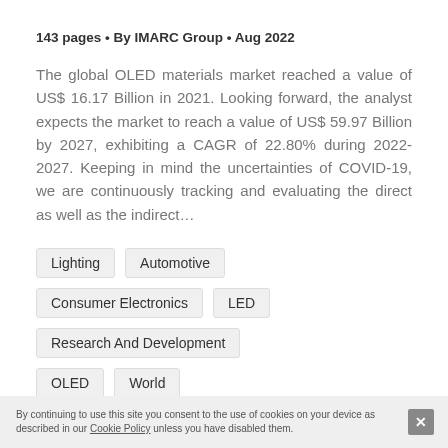143 pages • By IMARC Group • Aug 2022
The global OLED materials market reached a value of US$ 16.17 Billion in 2021. Looking forward, the analyst expects the market to reach a value of US$ 59.97 Billion by 2027, exhibiting a CAGR of 22.80% during 2022-2027. Keeping in mind the uncertainties of COVID-19, we are continuously tracking and evaluating the direct as well as the indirect…
Lighting
Automotive
Consumer Electronics
LED
Research And Development
OLED
World
Consumer Electronics
By continuing to use this site you consent to the use of cookies on your device as described in our Cookie Policy unless you have disabled them.